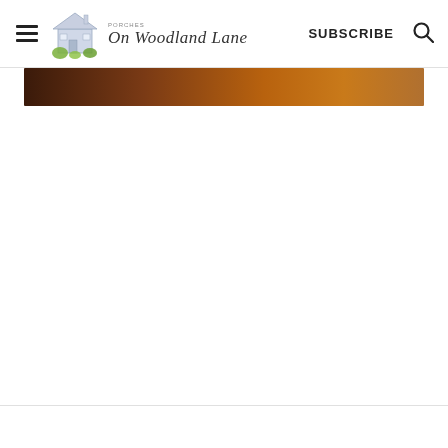On Woodland Lane — SUBSCRIBE
[Figure (photo): Partial view of a blurred wooden surface, dark brown tones, appearing as a narrow horizontal strip near the top of the content area.]